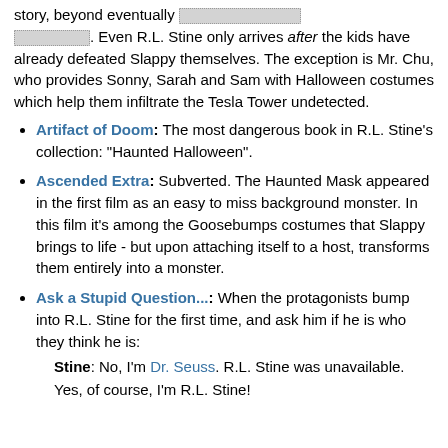story, beyond eventually [redacted]. Even R.L. Stine only arrives after the kids have already defeated Slappy themselves. The exception is Mr. Chu, who provides Sonny, Sarah and Sam with Halloween costumes which help them infiltrate the Tesla Tower undetected.
Artifact of Doom: The most dangerous book in R.L. Stine's collection: "Haunted Halloween".
Ascended Extra: Subverted. The Haunted Mask appeared in the first film as an easy to miss background monster. In this film it's among the Goosebumps costumes that Slappy brings to life - but upon attaching itself to a host, transforms them entirely into a monster.
Ask a Stupid Question...: When the protagonists bump into R.L. Stine for the first time, and ask him if he is who they think he is:
Stine: No, I'm Dr. Seuss. R.L. Stine was unavailable. Yes, of course, I'm R.L. Stine!